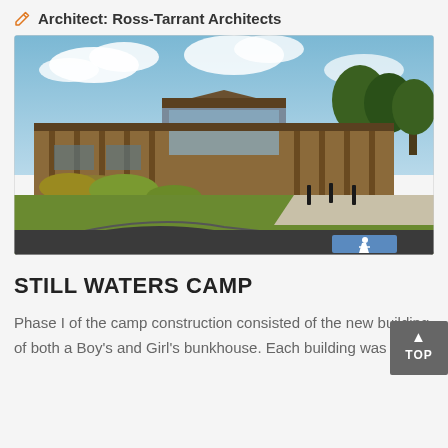Architect: Ross-Tarrant Architects
[Figure (photo): Exterior photo of Still Waters Camp building — a long, modern wooden structure with post-and-beam architecture, large windows, covered walkways, surrounded by landscaping with flowers and shrubs, with a curved driveway in the foreground and a handicap parking symbol visible.]
STILL WATERS CAMP
Phase I of  the camp construction consisted of the new building of both a Boy's and Girl's bunkhouse.  Each building was